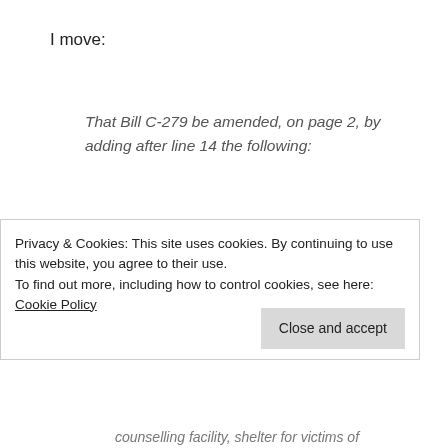I move:
That Bill C-279 be amended, on page 2, by adding after line 14 the following:
‘2.1 Subsection 15(1) of the Act is amended by striking out “or” after paragraph (f) and by adding the following after that paragraph:
Privacy & Cookies: This site uses cookies. By continuing to use this website, you agree to their use.
To find out more, including how to control cookies, see here: Cookie Policy
Close and accept
counselling facility, shelter for victims of